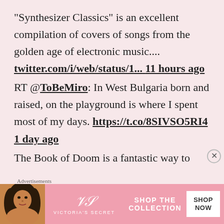"Synthesizer Classics" is an excellent compilation of covers of songs from the golden age of electronic music....
twitter.com/i/web/status/1...  11 hours ago
RT @ToBeMiro: In West Bulgaria born and raised, on the playground is where I spent most of my days. https://t.co/8SIVSO5RI4
1 day ago
The Book of Doom is a fantastic way to
Advertisements
[Figure (photo): Victoria's Secret advertisement banner with a woman's photo on the left, VS logo in the center, 'SHOP THE COLLECTION' text, and a 'SHOP NOW' button]